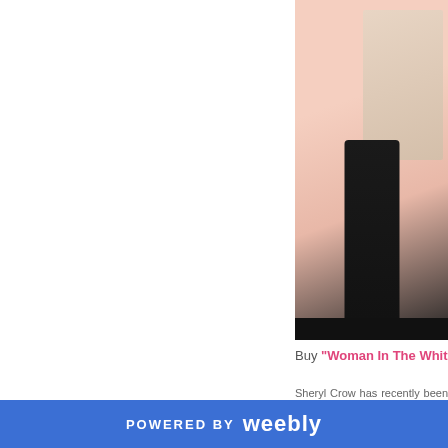[Figure (photo): Photo of a black sculptural torso/mannequin in front of a building with warm pink background]
Buy "Woman In The White..."
Sheryl Crow has recently been working with Tchad Blake for a follow up album but that isn't expected until sometime next year. An album in the works. She took some of her albums planned to murder the... Crow wanted to put in the work none the less.
[Figure (screenshot): Facebook Like button showing 0 likes]
[Figure (screenshot): Twitter share button]
0 Comments
POWERED BY weebly